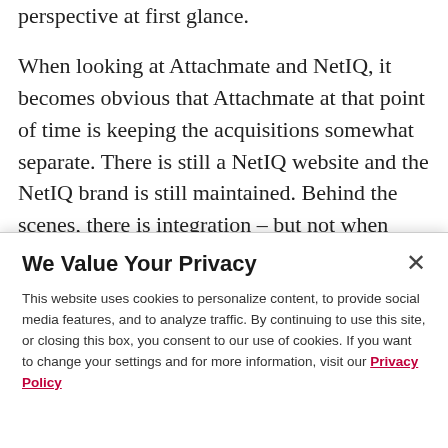perspective at first glance.

When looking at Attachmate and NetIQ, it becomes obvious that Attachmate at that point of time is keeping the acquisitions somewhat separate. There is still a NetIQ website and the NetIQ brand is still maintained. Behind the scenes, there is integration – but not when facing to the customer. It is most likely that the same strategy will be followed with Novell
We Value Your Privacy
This website uses cookies to personalize content, to provide social media features, and to analyze traffic. By continuing to use this site, or closing this box, you consent to our use of cookies. If you want to change your settings and for more information, visit our Privacy Policy